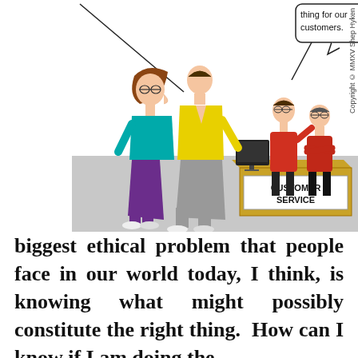[Figure (illustration): A cartoon illustration showing two customers (a woman in teal top and purple pants, a man in yellow shirt and grey pants) walking toward a Customer Service desk. Behind the desk stand two employees in red shirts. A speech bubble at the top right says 'thing for our customers.' A monitor sits on the desk. Copyright MMXV Shep Hyken is printed vertically on the right side.]
biggest ethical problem that people face in our world today, I think, is knowing what might possibly constitute the right thing.  How can I know if I am doing the right thing if I don't know what the right